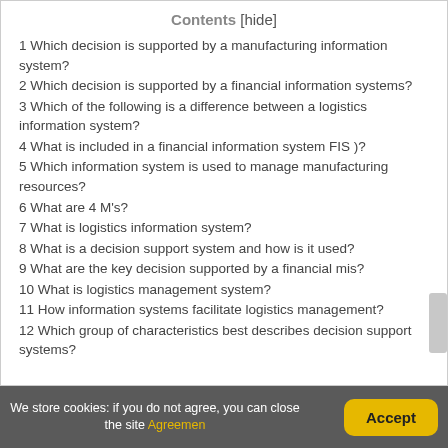Contents [hide]
1 Which decision is supported by a manufacturing information system?
2 Which decision is supported by a financial information systems?
3 Which of the following is a difference between a logistics information system?
4 What is included in a financial information system FIS )?
5 Which information system is used to manage manufacturing resources?
6 What are 4 M's?
7 What is logistics information system?
8 What is a decision support system and how is it used?
9 What are the key decision supported by a financial mis?
10 What is logistics management system?
11 How information systems facilitate logistics management?
12 Which group of characteristics best describes decision support systems?
We store cookies: if you do not agree, you can close the site Agreemen